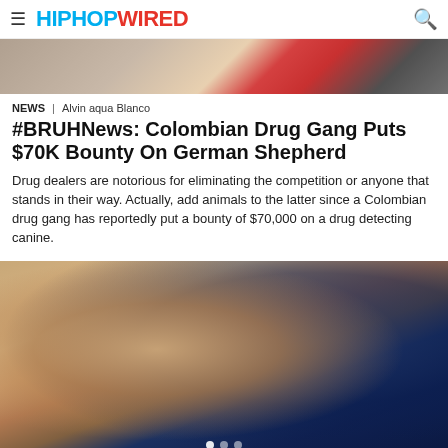HIPHOPWIRED
[Figure (photo): Partial top portion of an article image, appears to show a vehicle with red taillights]
NEWS | Alvin aqua Blanco
#BRUHNews: Colombian Drug Gang Puts $70K Bounty On German Shepherd
Drug dealers are notorious for eliminating the competition or anyone that stands in their way. Actually, add animals to the latter since a Colombian drug gang has reportedly put a bounty of $70,000 on a drug detecting canine.
[Figure (photo): Photo of a young woman with glasses and long dark hair, smiling, wearing a low-cut black top, with a blue background and shelving visible behind her. Three dot pagination indicators visible at the bottom.]